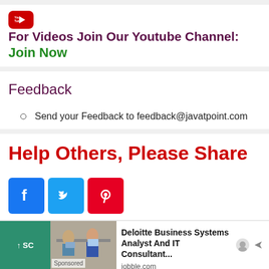For Videos Join Our Youtube Channel: Join Now
Feedback
Send your Feedback to feedback@javatpoint.com
Help Others, Please Share
[Figure (other): Social share buttons: Facebook, Twitter, Pinterest]
[Figure (other): Advertisement: Deloitte Business Systems Analyst And IT Consultant - jobble.com]